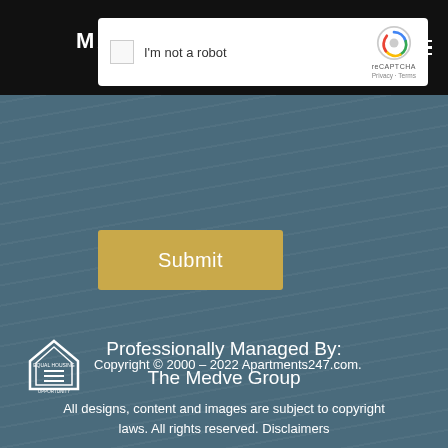[Figure (logo): Margeaux Metairie logo in white text on dark header bar]
[Figure (screenshot): reCAPTCHA checkbox widget with I'm not a robot label]
MENU
[Figure (other): Submit button in golden/yellow color]
Professionally Managed By:
The Medve Group
Copyright © 2000 – 2022 Apartments247.com. All designs, content and images are subject to copyright laws. All rights reserved. Disclaimers